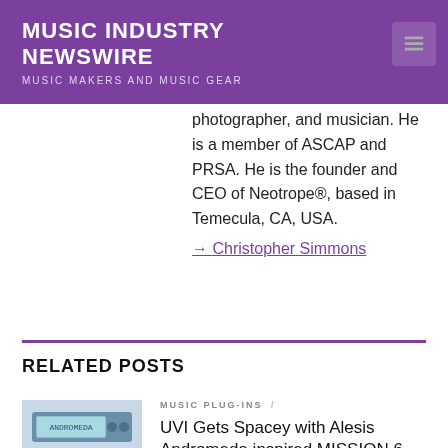MUSIC INDUSTRY NEWSWIRE
MUSIC MAKERS AND MUSIC GEAR
photographer, and musician. He is a member of ASCAP and PRSA. He is the founder and CEO of Neotrope®, based in Temecula, CA, USA.
→ Christopher Simmons
RELATED POSTS
[Figure (photo): Thumbnail image of electronic music device/synthesizer with display screen and buttons]
MUSIC PLUG-INS /
UVI Gets Spacey with Alesis Andromeda inspired MISSION 6 Virtual Synthesizer